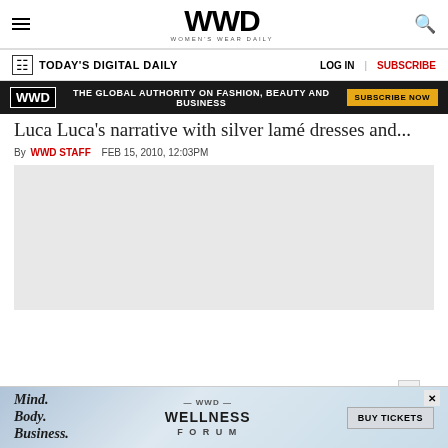WWD — WOMEN'S WEAR DAILY
TODAY'S DIGITAL DAILY | LOG IN | SUBSCRIBE
[Figure (infographic): WWD ad banner: THE GLOBAL AUTHORITY ON FASHION, BEAUTY AND BUSINESS — SUBSCRIBE NOW]
Luca Luca's narrative with silver lamé dresses and...
By WWD STAFF   FEB 15, 2010, 12:03PM
[Figure (photo): Fashion photo placeholder (gray box)]
[Figure (infographic): WWD Wellness Forum advertisement — Mind. Body. Business. BUY TICKETS]